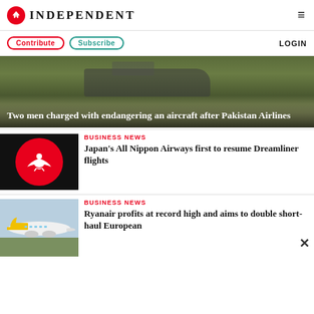INDEPENDENT
Contribute  Subscribe  LOGIN
[Figure (photo): Hero image: two men on an airfield with grass in background, dark overlay with white text headline]
Two men charged with endangering an aircraft after Pakistan Airlines
[Figure (logo): The Independent logo: red circle with white eagle on black background]
BUSINESS NEWS
Japan's All Nippon Airways first to resume Dreamliner flights
[Figure (photo): Photo of Ryanair aircraft on tarmac]
BUSINESS NEWS
Ryanair profits at record high and aims to double short-haul European